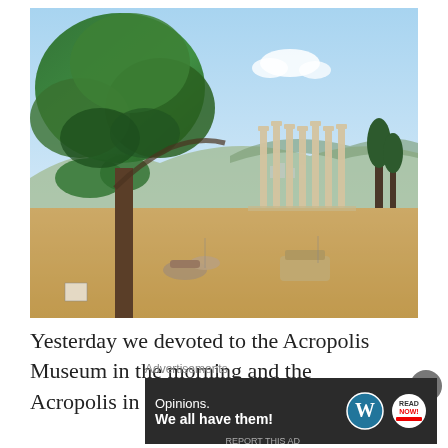[Figure (photo): Outdoor photo of ancient Greek ruins (Temple of Olympian Zeus columns) in Athens, with a large green tree in the foreground left, dry sandy ground, and mountains/city in the background under a blue sky with clouds.]
Yesterday we devoted to the Acropolis Museum in the morning and the Acropolis in the afternoon. The museum
Advertisements
[Figure (infographic): Advertisement banner with dark background reading 'Opinions. We all have them!' with WordPress logo and another circular logo on the right.]